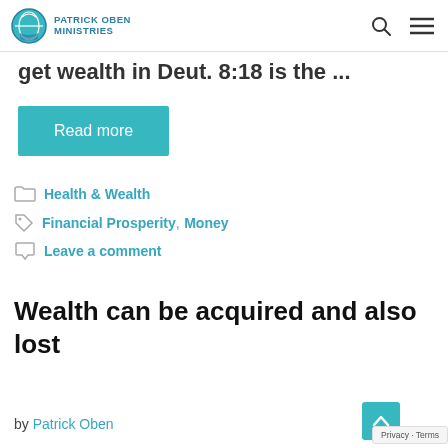PATRICK OBEN MINISTRIES
get wealth in Deut. 8:18  is the ...
Read more
Health & Wealth
Financial Prosperity, Money
Leave a comment
Wealth can be acquired and also lost
by Patrick Oben